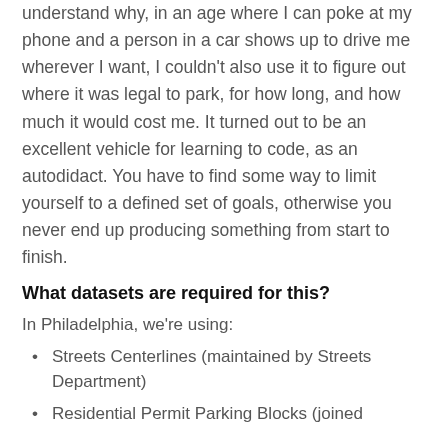understand why, in an age where I can poke at my phone and a person in a car shows up to drive me wherever I want, I couldn't also use it to figure out where it was legal to park, for how long, and how much it would cost me. It turned out to be an excellent vehicle for learning to code, as an autodidact. You have to find some way to limit yourself to a defined set of goals, otherwise you never end up producing something from start to finish.
What datasets are required for this?
In Philadelphia, we're using:
Streets Centerlines (maintained by Streets Department)
Residential Permit Parking Blocks (joined